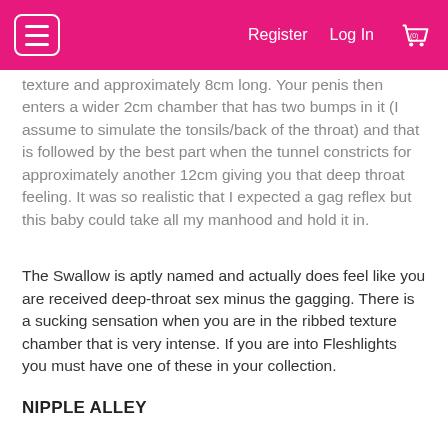Register  Log In  (0)
texture and approximately 8cm long. Your penis then enters a wider 2cm chamber that has two bumps in it (I assume to simulate the tonsils/back of the throat) and that is followed by the best part when the tunnel constricts for approximately another 12cm giving you that deep throat feeling. It was so realistic that I expected a gag reflex but this baby could take all my manhood and hold it in.
The Swallow is aptly named and actually does feel like you are received deep-throat sex minus the gagging. There is a sucking sensation when you are in the ribbed texture chamber that is very intense. If you are into Fleshlights you must have one of these in your collection.
NIPPLE ALLEY